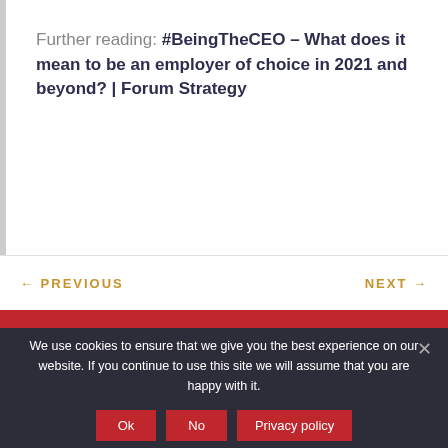Further reading: #BeingTheCEO – What does it mean to be an employer of choice in 2021 and beyond? | Forum Strategy
← PREVIOUS    NEXT →
We use cookies to ensure that we give you the best experience on our website. If you continue to use this site we will assume that you are happy with it.